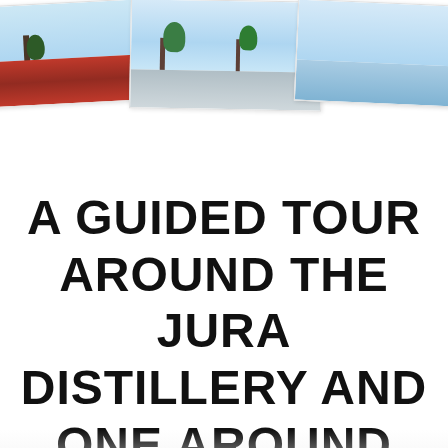[Figure (photo): Three polaroid-style photographs arranged overlapping at the top of the page. Left photo shows red subject (possibly berries or flowers) with sky. Center photo shows a sky with trees. Right photo shows a sky/water scene.]
A GUIDED TOUR AROUND THE JURA DISTILLERY AND ONE AROUND THE ISLAND